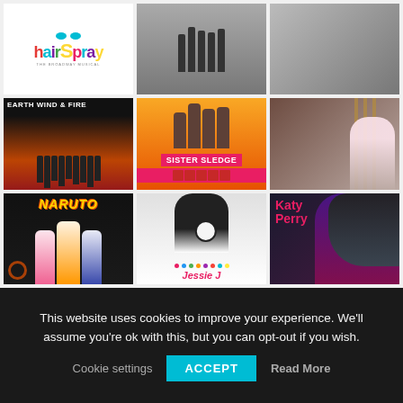[Figure (photo): 3x3 grid of album/media covers: Row 1: Hairspray musical logo, black and white band photo, black and white couple photo. Row 2: Earth Wind & Fire album cover, Sister Sledge album cover, dark-haired woman portrait. Row 3: Naruto anime cover, Jessie J album cover, Katy Perry promotional image.]
This website uses cookies to improve your experience. We'll assume you're ok with this, but you can opt-out if you wish.
Cookie settings
ACCEPT
Read More